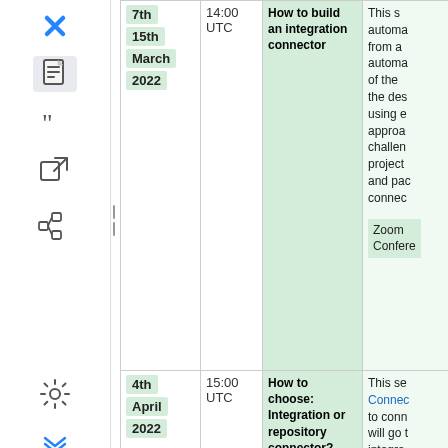| Date | Time | Topic | Description |
| --- | --- | --- | --- |
| 7th
15th
March
2022 | 13:00
14:00 UTC | How to build an integration connector | This se... automa... from a... automa... of the... the des... using e... approa... challen... project... and pac... connec...
Zoom Confere... |
| 4th
April
2022 | 15:00 UTC | How to choose: Integration or repository connector? | This se... Connec... to conn... will go t... integra... reposito... and ho... |